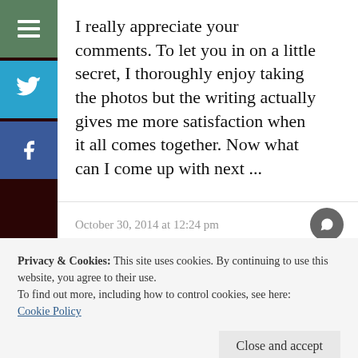I really appreciate your comments. To let you in on a little secret, I thoroughly enjoy taking the photos but the writing actually gives me more satisfaction when it all comes together. Now what can I come up with next ...
Liked by 1 person
October 30, 2014 at 12:24 pm
Privacy & Cookies: This site uses cookies. By continuing to use this website, you agree to their use.
To find out more, including how to control cookies, see here:
Cookie Policy
Close and accept
photos